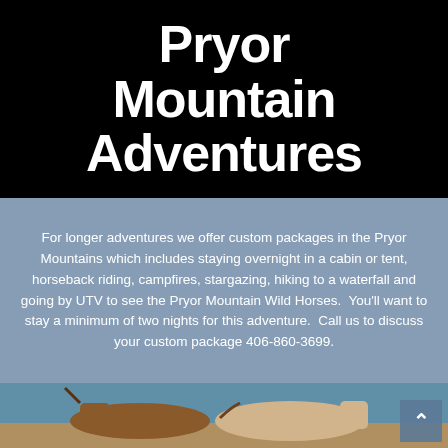Pryor Mountain Adventures
For longer adventures we offer custom packages in the Pryor Mountains which includes staying overnight in a cabin or tent, horseback riding, campfires, stargazing, hiking to a waterfall and going by UTV to see the Pryor Mountain Wild Horses.  You'll want to stay a minimum of two nights for this adventure.  Call us to discuss your custom package 406-860-3699.
[Figure (photo): Partial view of horses (likely wild Pryor Mountain horses) against a blue sky background, with a back-to-top navigation button in the bottom-right corner.]